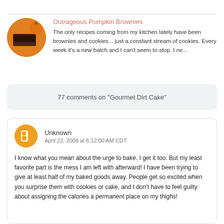Outrageous Pumpkin Brownies
The only recipes coming from my kitchen lately have been brownies and cookies... just a constant stream of cookies.  Every week it's a new batch and I can't seem to stop.  I ne...
77 comments on "Gourmet Dirt Cake"
Unknown
April 22, 2009 at 6:12:00 AM CDT
I know what you mean about the urge to bake. I get it too. But my least favorite part is the mess I am left with afterward! I have been trying to give at least half of my baked goods away. People get so excited when you surprise them with cookies or cake, and I don't have to feel guilty about assigning the calories a permanent place on my thighs!